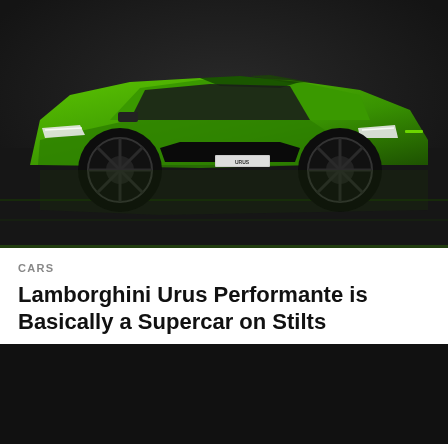[Figure (photo): Green Lamborghini Urus Performante SUV photographed from a front-three-quarter angle in a dark studio with reflective floor and subtle green lighting accents]
CARS
Lamborghini Urus Performante is Basically a Supercar on Stilts
[Figure (infographic): Advertisement banner for MANOFMANY Exclusive Whiskey with M logo, orange Buy it Here button, whiskey bottle illustrations, brand name MANOFMANY, and text Exclusive Whiskey]